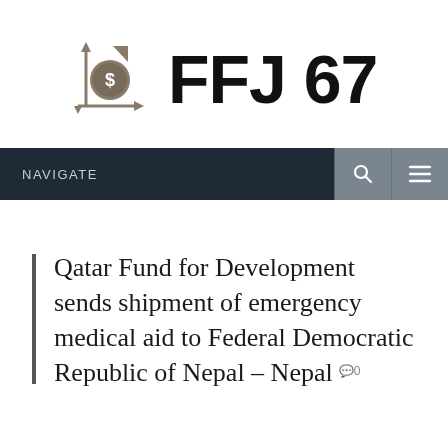[Figure (logo): FFJ 67 logo with financial chart icon showing upward arrow, dollar sign coin, and downward arrows on axes]
NAVIGATE
Qatar Fund for Development sends shipment of emergency medical aid to Federal Democratic Republic of Nepal – Nepal